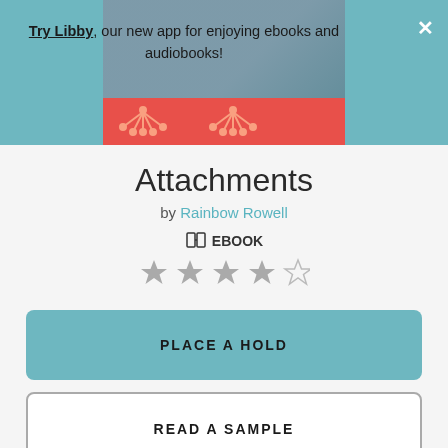[Figure (screenshot): App banner showing book cover image for Attachments — teal background with partial view of a person in a chair, overlaid with a red stripe, and decorative chair icons in red/orange on a coral background.]
Try Libby, our new app for enjoying ebooks and audiobooks!
Attachments
by Rainbow Rowell
EBOOK
[Figure (other): 4 out of 5 stars rating shown as grey filled stars with one outline star]
PLACE A HOLD
READ A SAMPLE